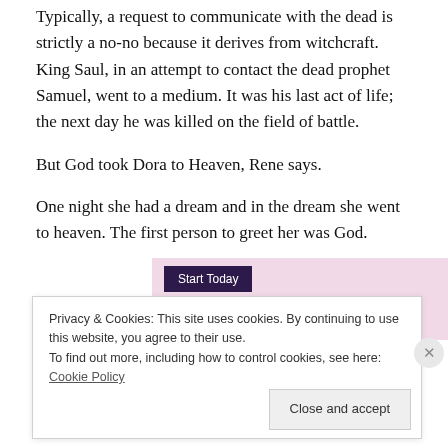Typically, a request to communicate with the dead is strictly a no-no because it derives from witchcraft. King Saul, in an attempt to contact the dead prophet Samuel, went to a medium. It was his last act of life; the next day he was killed on the field of battle.
But God took Dora to Heaven, Rene says.
One night she had a dream and in the dream she went to heaven. The first person to greet her was God.
[Figure (screenshot): Pink advertisement banner with a dark purple 'Start Today' button]
Privacy & Cookies: This site uses cookies. By continuing to use this website, you agree to their use.
To find out more, including how to control cookies, see here: Cookie Policy